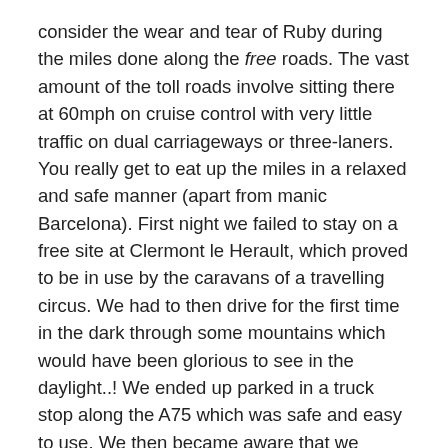consider the wear and tear of Ruby during the miles done along the free roads. The vast amount of the toll roads involve sitting there at 60mph on cruise control with very little traffic on dual carriageways or three-laners. You really get to eat up the miles in a relaxed and safe manner (apart from manic Barcelona). First night we failed to stay on a free site at Clermont le Herault, which proved to be in use by the caravans of a travelling circus. We had to then drive for the first time in the dark through some mountains which would have been glorious to see in the daylight..! We ended up parked in a truck stop along the A75 which was safe and easy to use. We then became aware that we would be passing along the famous Millau Viaduct on this road the next day which caused a great deal of excitement. We have visited this before but the prospect of driving over it the next morning had us keen to start early. It was -3° overnight here as we were high up in the mountains. We drove half an hour to the Millau Viaduct in gentle rolling mountains to then park up at the viewing point. Almost empty at this time of day (8.30am)